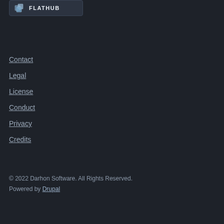[Figure (logo): Flathub logo with cube icon and FLATHUB text in a rounded rectangle box]
Contact
Legal
License
Conduct
Privacy
Credits
© 2022 Darhon Software. All Rights Reserved.
Powered by Drupal